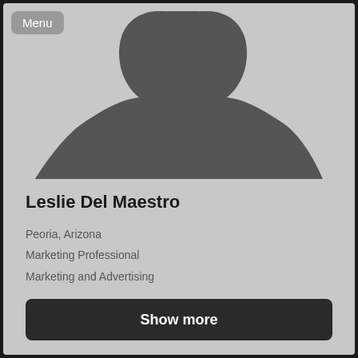[Figure (illustration): Generic silhouette avatar placeholder image of a person (head and shoulders) in dark gray against a light gray background]
Menu
Leslie Del Maestro
Peoria, Arizona
Marketing Professional
Marketing and Advertising
Show more